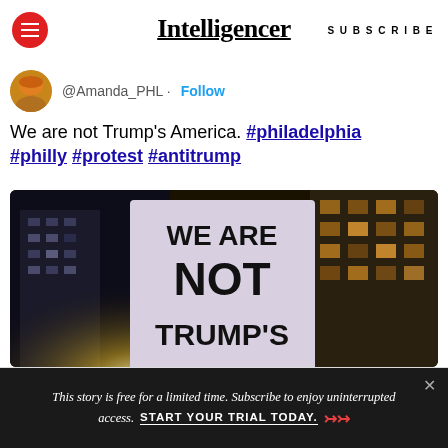Intelligencer | SUBSCRIBE
@Amanda_PHL · Follow
We are not Trump's America. #philadelphia #philly #protest #antitrump
[Figure (photo): Protest photo showing a person holding a sign reading 'WE ARE NOT TRUMP'S AMERICA' at a night protest with city buildings in background]
This story is free for a limited time. Subscribe to enjoy uninterrupted access. START YOUR TRIAL TODAY.